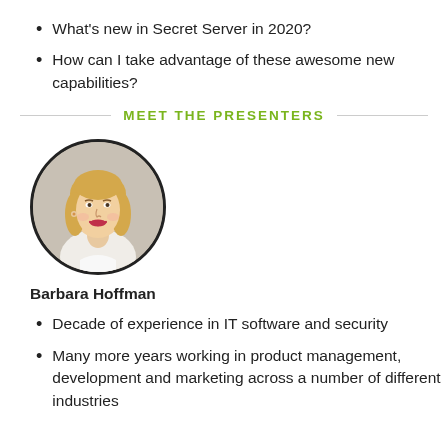What's new in Secret Server in 2020?
How can I take advantage of these awesome new capabilities?
MEET THE PRESENTERS
[Figure (photo): Circular headshot photo of Barbara Hoffman, a blonde woman smiling, wearing a white top]
Barbara Hoffman
Decade of experience in IT software and security
Many more years working in product management, development and marketing across a number of different industries